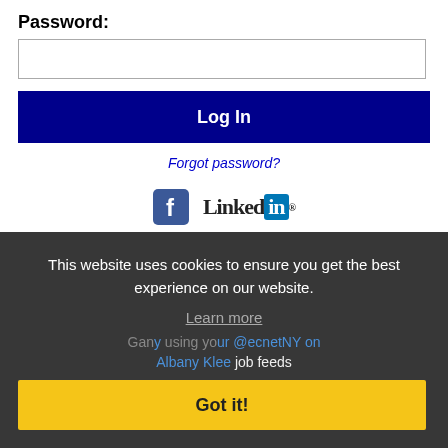Password:
Log In
Forgot password?
[Figure (logo): Facebook logo icon (blue F) and LinkedIn logo]
This website uses cookies to ensure you get the best experience on our website.
Learn more
Albany Klee job feeds
Got it!